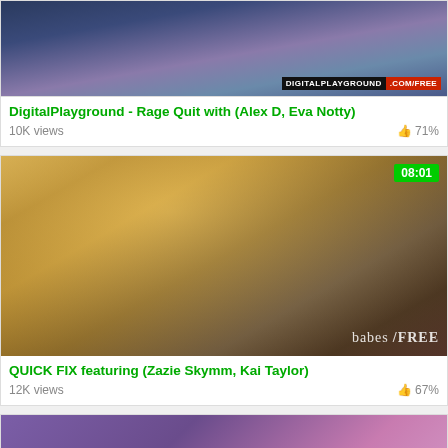[Figure (screenshot): Video thumbnail showing two people on a couch with DigitalPlayground.com/FREE watermark]
DigitalPlayground - Rage Quit with (Alex D, Eva Notty)
10K views   👍 71%
[Figure (photo): Video thumbnail of a blonde woman in a yellow top, 08:01 duration badge, babes/FREE watermark]
QUICK FIX featuring (Zazie Skymm, Kai Taylor)
12K views   👍 67%
[Figure (photo): Partial third video thumbnail, partially visible at bottom]